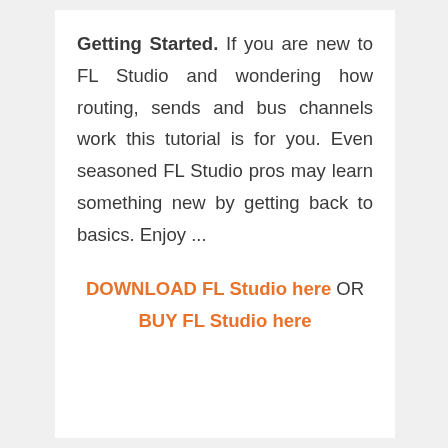Getting Started. If you are new to FL Studio and wondering how routing, sends and bus channels work this tutorial is for you. Even seasoned FL Studio pros may learn something new by getting back to basics. Enjoy ...
DOWNLOAD FL Studio here OR BUY FL Studio here